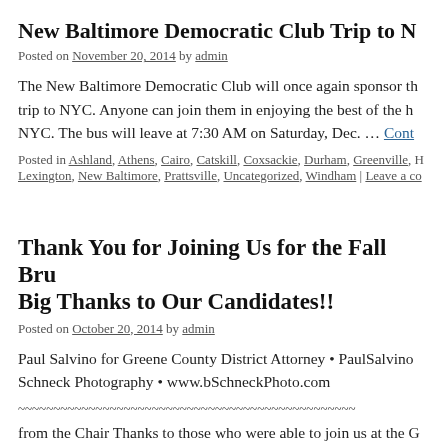New Baltimore Democratic Club Trip to N
Posted on November 20, 2014 by admin
The New Baltimore Democratic Club will once again sponsor th trip to NYC. Anyone can join them in enjoying the best of the h NYC. The bus will leave at 7:30 AM on Saturday, Dec. … Cont
Posted in Ashland, Athens, Cairo, Catskill, Coxsackie, Durham, Greenville, H Lexington, New Baltimore, Prattsville, Uncategorized, Windham | Leave a co
Thank You for Joining Us for the Fall Bru Big Thanks to Our Candidates!!
Posted on October 20, 2014 by admin
Paul Salvino for Greene County District Attorney • PaulSalvino Schneck Photography • www.bSchneckPhoto.com
~~~~~~~~~~~~~~~~~~~~~~~~~~~~~~~~~~~~~~~~~~~~~~~~
from the Chair Thanks to those who were able to join us at the G a great event and … Continue reading →